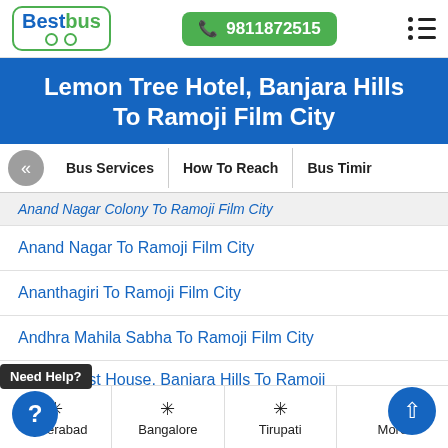BestBus | 9811872515
Lemon Tree Hotel, Banjara Hills To Ramoji Film City
Bus Services | How To Reach | Bus Timir
Anand Nagar Colony To Ramoji Film City
Anand Nagar To Ramoji Film City
Ananthagiri To Ramoji Film City
Andhra Mahila Sabha To Ramoji Film City
Anoon Guest House, Banjara Hills To Ramoji Film City
Hyderabad | Bangalore | Tirupati | More